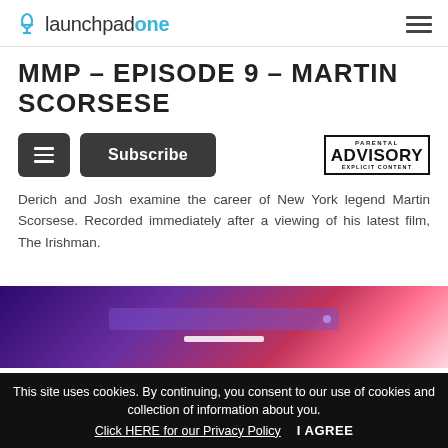launchpadone
MMP – EPISODE 9 – MARTIN SCORSESE
Derich and Josh examine the career of New York legend Martin Scorsese. Recorded immediately after a viewing of his latest film, The Irishman.
[Figure (screenshot): Podcast audio player with purple-to-pink gradient background, partially visible playlist or waveform overlay bar]
This site uses cookies. By continuing, you consent to our use of cookies and collection of information about you. Click HERE for our Privacy Policy   I AGREE